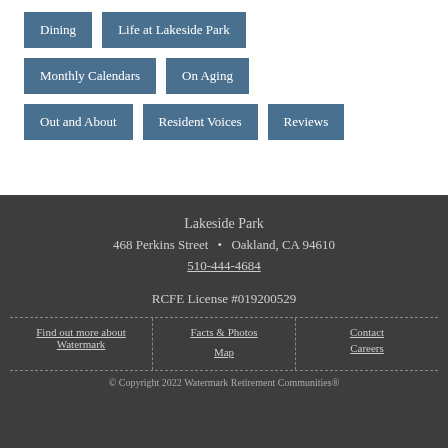Dining
Life at Lakeside Park
Monthly Calendars
On Aging
Out and About
Resident Voices
Reviews
Lakeside Park
468 Perkins Street • Oakland, CA 94610
510-444-4684
RCFE License #019200529
Find out more about Watermark
Facts & Photos
Map
Contact   Careers
© Copyright 2022 Watermark Retirement Communities®